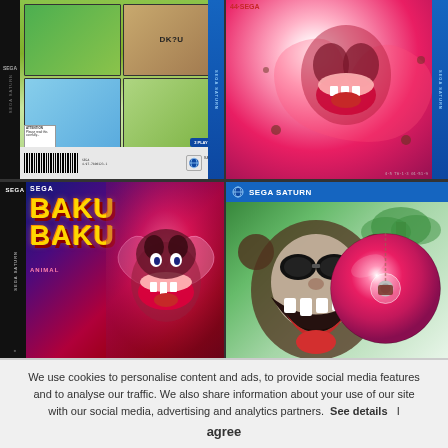[Figure (photo): Four Sega Saturn game cases arranged in a 2x2 grid. Top-left shows a puzzle/platformer game case with grid screenshots and barcode. Top-right shows BakuBaku Animal game case with bright pink/red monkey artwork. Bottom-left shows BakuBaku game case front with large yellow 'BAKU BAKU' title text on colorful background with Sega Saturn spine. Bottom-right shows a Sega Saturn game case with Taz character art and a pink game disc.]
We use cookies to personalise content and ads, to provide social media features and to analyse our traffic. We also share information about your use of our site with our social media, advertising and analytics partners.  See details    I agree